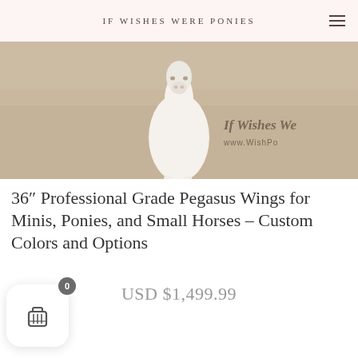IF WISHES WERE PONIES
[Figure (photo): A white pony or small horse photographed head-on against a sandy/dirt background. Watermark text reads 'If Wishes We' and 'www.WishPo' partially visible in lower right.]
36" Professional Grade Pegasus Wings for Minis, Ponies, and Small Horses – Custom Colors and Options
USD $1,499.99